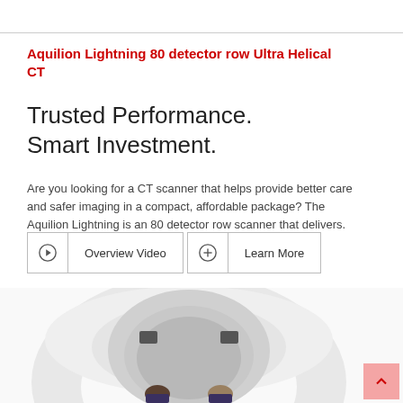Aquilion Lightning 80 detector row Ultra Helical CT
Trusted Performance.
Smart Investment.
Are you looking for a CT scanner that helps provide better care and safer imaging in a compact, affordable package? The Aquilion Lightning is an 80 detector row scanner that delivers.
[Figure (screenshot): Two button links: 'Overview Video' with a play icon, and 'Learn More' with a plus/circle icon]
[Figure (photo): CT scanner (Aquilion Lightning) with two people standing in front of it in a clinical setting]